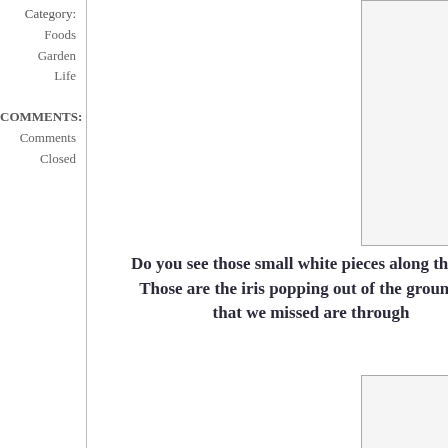Category:
Foods
Garden
Life
COMMENTS:
Comments
Closed
[Figure (photo): Top photo, partially visible on right side of page]
Do you see those small white pieces along the fron Those are the iris popping out of the ground.  A that we missed are through
[Figure (photo): Bottom photo, partially visible on right side of page]